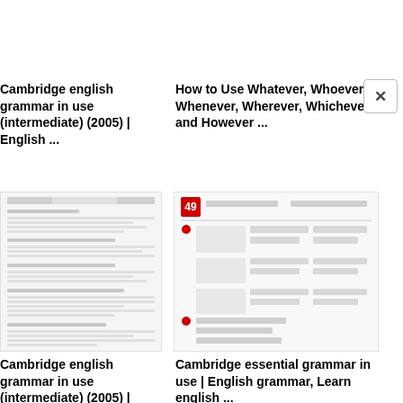Cambridge english grammar in use (intermediate) (2005) | English ...
How to Use Whatever, Whoever, Whenever, Wherever, Whichever and However ...
[Figure (screenshot): Thumbnail of Cambridge english grammar in use exercises page]
[Figure (screenshot): Thumbnail of page 49 showing 'She said that... He told me that...' with speech bubbles and exercise content]
Cambridge english grammar in use (intermediate) (2005) | English ...
Cambridge essential grammar in use | English grammar, Learn english ...